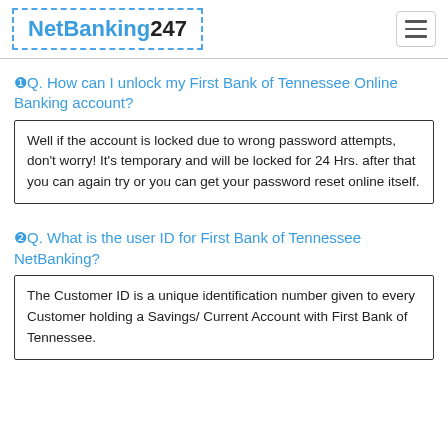NetBanking247
❶Q. How can I unlock my First Bank of Tennessee Online Banking account?
Well if the account is locked due to wrong password attempts, don't worry! It's temporary and will be locked for 24 Hrs. after that you can again try or you can get your password reset online itself.
❷Q. What is the user ID for First Bank of Tennessee NetBanking?
The Customer ID is a unique identification number given to every Customer holding a Savings/ Current Account with First Bank of Tennessee.